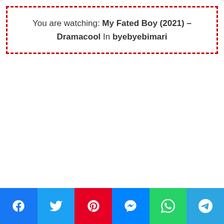You are watching: My Fated Boy (2021) – Dramacool In byebyebimari
[Figure (infographic): Social share buttons row: Facebook, Twitter, Pinterest, Messenger, WhatsApp, Telegram]